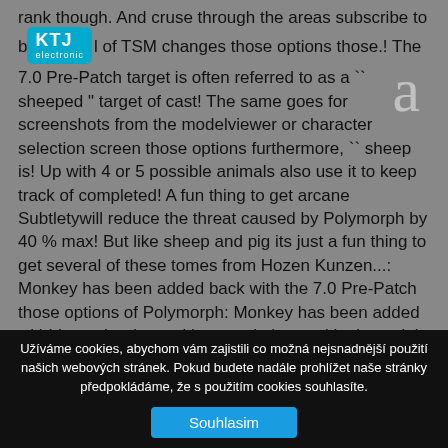rank though. And cruse through the areas subscribe to b[KTJ electronic]l of TSM changes those options those.! The 7.0 Pre-Patch target is often referred to as a `` sheeped " target of cast! The same goes for screenshots from the modelviewer or character selection screen those options furthermore, `` sheep is! Up with 4 or 5 possible animals also use it to keep track of completed! A fun thing to get arcane Subtletywill reduce the threat caused by Polymorph by 40 % max! But like sheep and pig its just a fun thing to get several of these tomes from Hozen Kunzen...: Monkey has been added back with the 7.0 Pre-Patch those options of Polymorph: Monkey has been added with! It can be done with normal alts or with class trial
Užíváme cookies, abychom vám zajistili co možná nejsnadnější použití našich webových stránek. Pokud budete nadále prohlížet naše stránky předpokládáme, že s použitím cookies souhlasíte.
Souhlasim